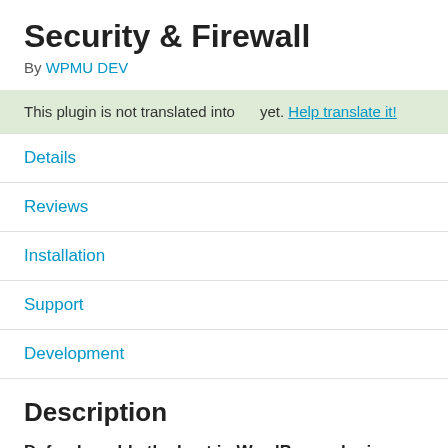Security & Firewall
By WPMU DEV
This plugin is not translated into      yet. Help translate it!
Details
Reviews
Installation
Support
Development
Description
Defender adds the best in WordPress plugin security to your website with just a few clicks.